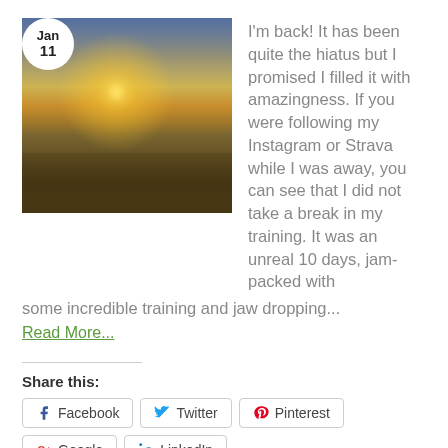[Figure (photo): Sunset over a beach with dramatic golden sky, sun reflecting on water, and sandy dunes with people in the distance. A circular date badge overlay shows 'Jan 11'.]
I'm back! It has been quite the hiatus but I promised I filled it with amazingness. If you were following my Instagram or Strava while I was away, you can see that I did not take a break in my training. It was an unreal 10 days, jam-packed with some incredible training and jaw dropping...
Read More...
Share this:
Facebook
Twitter
Pinterest
Google
LinkedIn